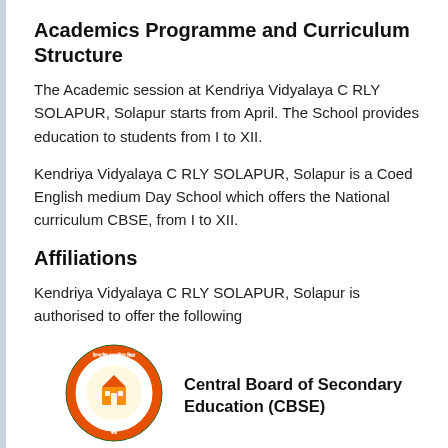Academics Programme and Curriculum Structure
The Academic session at Kendriya Vidyalaya C RLY SOLAPUR, Solapur starts from April. The School provides education to students from I to XII.
Kendriya Vidyalaya C RLY SOLAPUR, Solapur is a Coed English medium Day School which offers the National curriculum CBSE, from I to XII.
Affiliations
Kendriya Vidyalaya C RLY SOLAPUR, Solapur is authorised to offer the following
[Figure (logo): CBSE circular logo with orange and green colors and Hindi/English text]
Central Board of Secondary Education (CBSE)